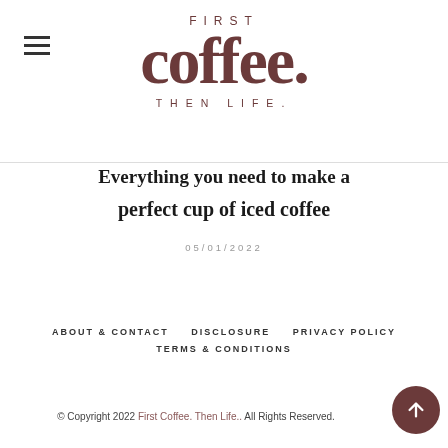[Figure (logo): First Coffee. Then Life. blog logo with large serif 'coffee.' text and uppercase 'FIRST' above and 'THEN LIFE.' below]
Everything you need to make a perfect cup of iced coffee
05/01/2022
ABOUT & CONTACT   DISCLOSURE   PRIVACY POLICY   TERMS & CONDITIONS
© Copyright 2022 First Coffee. Then Life.. All Rights Reserved.